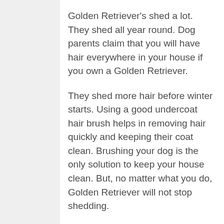Golden Retriever's shed a lot. They shed all year round. Dog parents claim that you will have hair everywhere in your house if you own a Golden Retriever.
They shed more hair before winter starts. Using a good undercoat hair brush helps in removing hair quickly and keeping their coat clean. Brushing your dog is the only solution to keep your house clean. But, no matter what you do, Golden Retriever will not stop shedding.
Effective grooming techniques can help in preventing scattered and untangled hair. During spring, the undercoat of Goldens tends to grow thick. Extensive shedding almost blows the coat of the Golden.